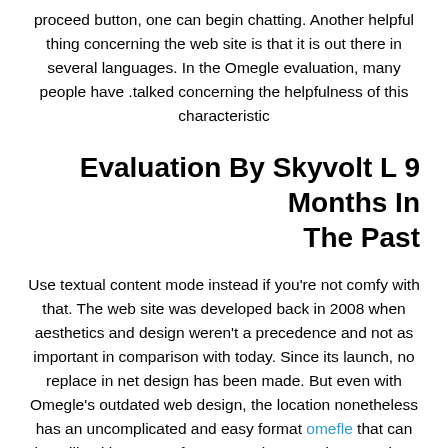proceed button, one can begin chatting. Another helpful thing concerning the web site is that it is out there in several languages. In the Omegle evaluation, many people have .talked concerning the helpfulness of this characteristic
Evaluation By Skyvolt L 9 Months In The Past
Use textual content mode instead if you're not comfy with that. The web site was developed back in 2008 when aesthetics and design weren't a precedence and not as important in comparison with today. Since its launch, no replace in net design has been made. But even with Omegle's outdated web design, the location nonetheless has an uncomplicated and easy format omefle that can be utilized by users of any age. The textual content box within the field is wide enough to see the whole textual content throughout a stay chat, no matter